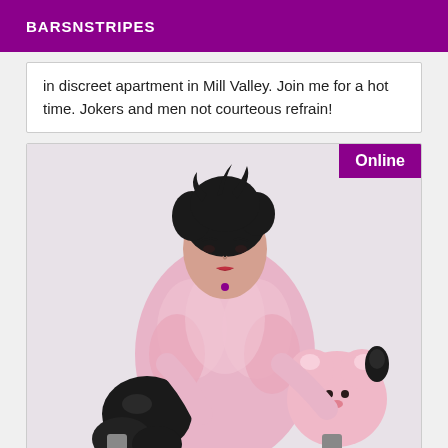BARSNSTRIPES
in discreet apartment in Mill Valley. Join me for a hot time. Jokers and men not courteous refrain!
[Figure (photo): Woman with dark upswept hair wearing a pink feathered coat and black leather gloves, sitting in a chair holding a pink stuffed animal toy, with an 'Online' badge in the top right corner.]